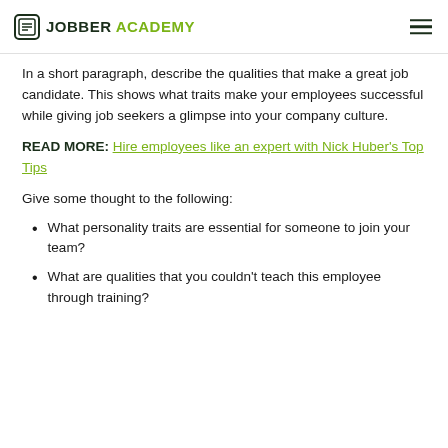JOBBER ACADEMY
In a short paragraph, describe the qualities that make a great job candidate. This shows what traits make your employees successful while giving job seekers a glimpse into your company culture.
READ MORE: Hire employees like an expert with Nick Huber's Top Tips
Give some thought to the following:
What personality traits are essential for someone to join your team?
What are qualities that you couldn't teach this employee through training?